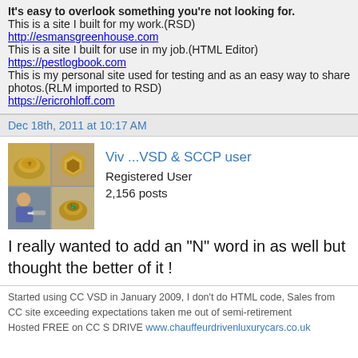It's easy to overlook something you're not looking for.
This is a site I built for my work.(RSD)
http://esmansgreenhouse.com
This is a site I built for use in my job.(HTML Editor)
https://pestlogbook.com
This is my personal site used for testing and as an easy way to share photos.(RLM imported to RSD)
https://ericrohloff.com
Dec 18th, 2011 at 10:17 AM
[Figure (photo): Avatar image grid showing 4 photos of gold signet rings and a jeweler at work]
Viv ...VSD & SCCP user
Registered User
2,156 posts
I really wanted to add an "N" word in as well but thought the better of it !
Started using CC VSD in January 2009, I don't do HTML code, Sales from CC site exceeding expectations taken me out of semi-retirement
Hosted FREE on CC S DRIVE www.chauffeurdrivenluxurycars.co.uk